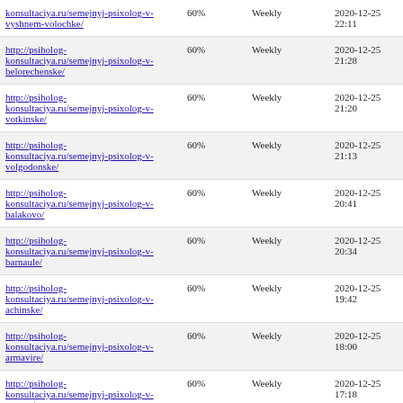| URL | Priority | Change Frequency | Last Modified |
| --- | --- | --- | --- |
| http://psiholog-konsultaciya.ru/semejnyj-psixolog-v-vyshnem-volochke/ | 60% | Weekly | 2020-12-25 22:11 |
| http://psiholog-konsultaciya.ru/semejnyj-psixolog-v-belorechenske/ | 60% | Weekly | 2020-12-25 21:28 |
| http://psiholog-konsultaciya.ru/semejnyj-psixolog-v-votkinske/ | 60% | Weekly | 2020-12-25 21:20 |
| http://psiholog-konsultaciya.ru/semejnyj-psixolog-v-volgodonske/ | 60% | Weekly | 2020-12-25 21:13 |
| http://psiholog-konsultaciya.ru/semejnyj-psixolog-v-balakovo/ | 60% | Weekly | 2020-12-25 20:41 |
| http://psiholog-konsultaciya.ru/semejnyj-psixolog-v-barnaule/ | 60% | Weekly | 2020-12-25 20:34 |
| http://psiholog-konsultaciya.ru/semejnyj-psixolog-v-achinske/ | 60% | Weekly | 2020-12-25 19:42 |
| http://psiholog-konsultaciya.ru/semejnyj-psixolog-v-armavire/ | 60% | Weekly | 2020-12-25 18:00 |
| http://psiholog-konsultaciya.ru/semejnyj-psixolog-v-arteme/ | 60% | Weekly | 2020-12-25 17:18 |
| http://psiholog-konsultaciya.ru/semejnyj-psixolog-v-... | 60% | Weekly | 2020-12-25 16:40 |